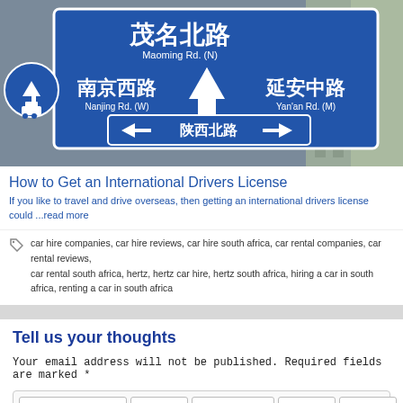[Figure (photo): Photo of a blue Chinese road sign with Chinese characters and English transliterations for Maoming Rd (N), Nanjing Rd (W), Yan'an Rd (M), and Shaan Xi Rd (N), with directional arrows. A blue circular traffic sign is visible on the left.]
How to Get an International Drivers License
If you like to travel and drive overseas, then getting an international drivers license could ...read more
car hire companies, car hire reviews, car hire south africa, car rental companies, car rental reviews, car rental south africa, hertz, hertz car hire, hertz south africa, hiring a car in south africa, renting a car in south africa
Tell us your thoughts
Your email address will not be published. Required fields are marked *